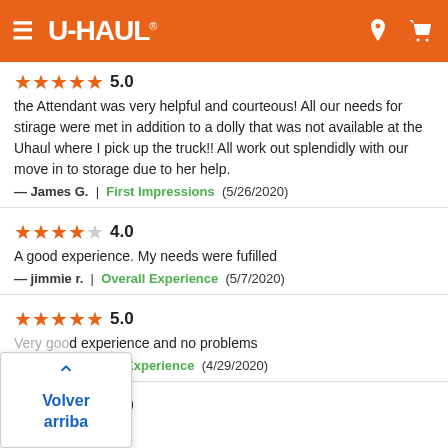U-HAUL® (navigation bar with hamburger menu, location icon, cart icon)
★★★★★ 5.0
the Attendant was very helpful and courteous! All our needs for stirage were met in addition to a dolly that was not available at the Uhaul where I pick up the truck!! All work out splendidly with our move in to storage due to her help.
— James G. | First Impressions (5/26/2020)
★★★★☆ 4.0
A good experience. My needs were fufilled
— jimmie r. | Overall Experience (5/7/2020)
★★★★★ 5.0
Very good experience and no problems
— l. | Overall Experience (4/29/2020)
★★★★★ 5.0
Volver arriba (popup button)